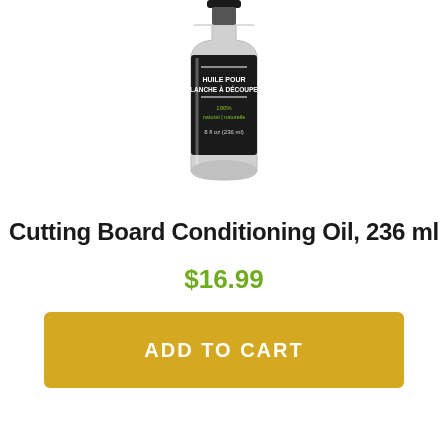[Figure (photo): A glass bottle with a black label showing 'HUILE POUR PLANCHE À DÉCOUPER', '100% natural | naturelle', '8 fl oz (236 ml)' — cutting board oil product]
Cutting Board Conditioning Oil, 236 ml
$16.99
ADD TO CART
[Figure (photo): Bottom portion of a round chrome/silver and black product, partially visible at bottom of page]